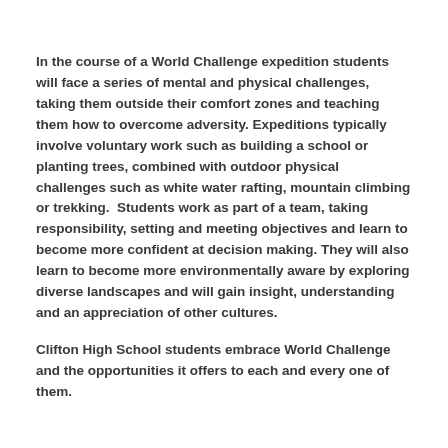In the course of a World Challenge expedition students will face a series of mental and physical challenges, taking them outside their comfort zones and teaching them how to overcome adversity. Expeditions typically involve voluntary work such as building a school or planting trees, combined with outdoor physical challenges such as white water rafting, mountain climbing or trekking.  Students work as part of a team, taking responsibility, setting and meeting objectives and learn to become more confident at decision making. They will also learn to become more environmentally aware by exploring diverse landscapes and will gain insight, understanding and an appreciation of other cultures.
Clifton High School students embrace World Challenge and the opportunities it offers to each and every one of them.